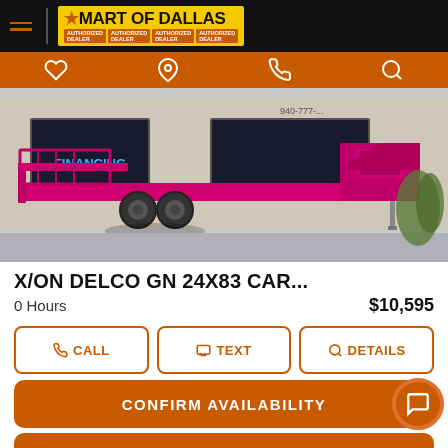[Figure (logo): Mart of Dallas dealership logo on black header bar with hamburger menu icon]
[Figure (photo): Pink X/ON gooseneck flatbed trailer parked in front of a stone building, side view showing dual axles and gooseneck hitch]
X/ON DELCO GN 24X83 CAR...
0 Hours  $10,595
CALL  TEXT  DETAILS
CONFIRM AVAILABILITY
GET PRE APPROVED